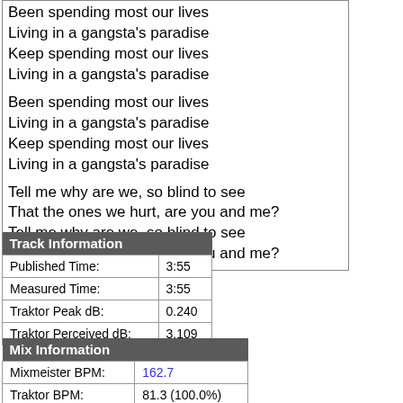Been spending most our lives
Living in a gangsta's paradise
Keep spending most our lives
Living in a gangsta's paradise

Been spending most our lives
Living in a gangsta's paradise
Keep spending most our lives
Living in a gangsta's paradise

Tell me why are we, so blind to see
That the ones we hurt, are you and me?
Tell me why are we, so blind to see
That the ones we hurt, are you and me?
| Track Information |  |
| --- | --- |
| Published Time: | 3:55 |
| Measured Time: | 3:55 |
| Traktor Peak dB: | 0.240 |
| Traktor Perceived dB: | 3.109 |
| Mix Information |  |
| --- | --- |
| Mixmeister BPM: | 162.7 |
| Traktor BPM: | 81.3 (100.0%) |
| Mixmeister Key: | C#m |